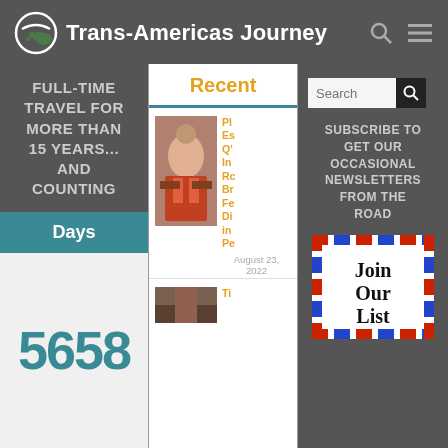Trans-Americas Journey
FULL-TIME TRAVEL FOR MORE THAN 15 YEARS... AND COUNTING
Days
5658
Recent
[Figure (photo): Photo of a person in traditional colorful dress]
Pl Es Q' In Ro Br Fe Di in Pe
August 23, 2022
[Figure (photo): Partially visible photo at bottom of middle column]
SUBSCRIBE TO GET OUR OCCASIONAL NEWSLETTERS FROM THE ROAD
[Figure (illustration): Airmail envelope graphic with red and blue border stripes, containing text Join Our List]